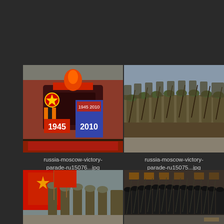[Figure (photo): Russia Moscow Victory Parade photo showing Red Square with 1945-2010 anniversary decorations, military arch and crowds]
russia-moscow-victory-parade-ru15076...jpg
[Figure (photo): Russia Moscow Victory Parade photo showing rows of soldiers in WWII-era uniforms marching with rifles]
russia-moscow-victory-parade-ru15075...jpg
[Figure (photo): Russia Moscow Victory Parade photo showing soldiers marching with red Soviet flags]
[Figure (photo): Russia Moscow Victory Parade photo showing rows of soldiers in black uniforms marching in formation]